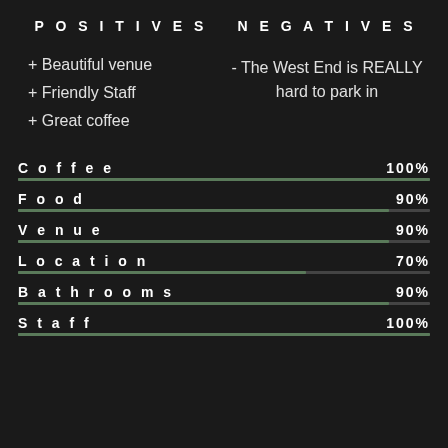POSITIVES
NEGATIVES
+ Beautiful venue
+ Friendly Staff
+ Great coffee
- The West End is REALLY hard to park in
[Figure (bar-chart): Ratings]